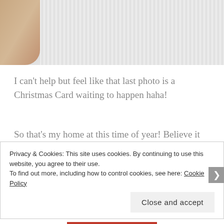[Figure (photo): Close-up photo of a hand touching white fluffy fur, resembling a Santa Claus costume or furry decoration.]
I can't help but feel like that last photo is a Christmas Card waiting to happen haha!
So that's my home at this time of year! Believe it or not we usually have even more trees and decorations, but we've been having work done on the house and it's only just finished. What's your favourite Christmas decoration? I love our Santa and our trees!!
Merry Christmas lovelies!! Love
Privacy & Cookies: This site uses cookies. By continuing to use this website, you agree to their use.
To find out more, including how to control cookies, see here: Cookie Policy
Close and accept